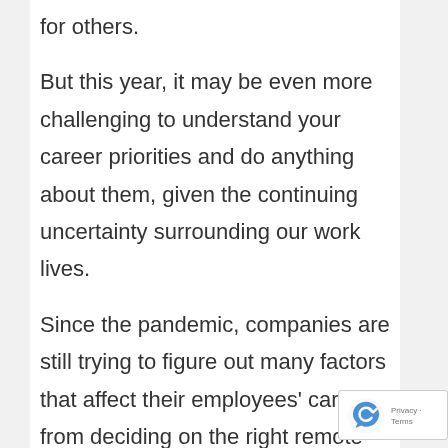for others.
But this year, it may be even more challenging to understand your career priorities and do anything about them, given the continuing uncertainty surrounding our work lives.
Since the pandemic, companies are still trying to figure out many factors that affect their employees' careers, from deciding on the right remote work policies or their use of contingent workers over full-time employees to stemming the tide of